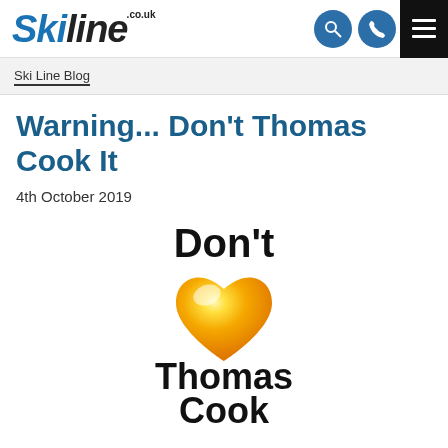Skiline.co.uk
Ski Line Blog
Warning... Don't Thomas Cook It
4th October 2019
[Figure (logo): Don't Thomas Cook It logo — bold black text 'Don't' above a golden/yellow heart shape, then bold black text 'Thomas Cook It' below]